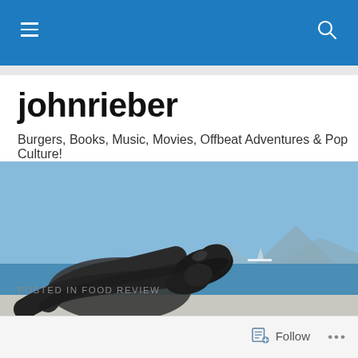johnrieber — navigation bar with hamburger menu and search icon
johnrieber
Burgers, Books, Music, Movies, Offbeat Adventures & Pop Culture!
[Figure (photo): A large metallic sculpture of a reclining figure with sneakers propped up, viewed from a beach promenade overlooking a blue sea with a distant mountain silhouette and a yacht on the water.]
POSTED IN FOOD REVIEW
Follow   ...